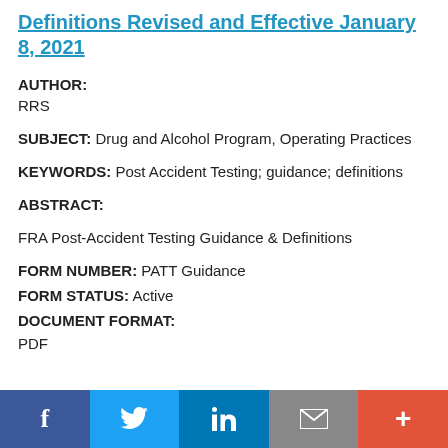Definitions Revised and Effective January 8, 2021
AUTHOR: RRS
SUBJECT: Drug and Alcohol Program, Operating Practices
KEYWORDS: Post Accident Testing; guidance; definitions
ABSTRACT:
FRA Post-Accident Testing Guidance & Definitions
FORM NUMBER: PATT Guidance
FORM STATUS: Active
DOCUMENT FORMAT:
PDF
[Figure (infographic): Social sharing bar with Facebook, Twitter, LinkedIn, Email, and More (+) buttons]